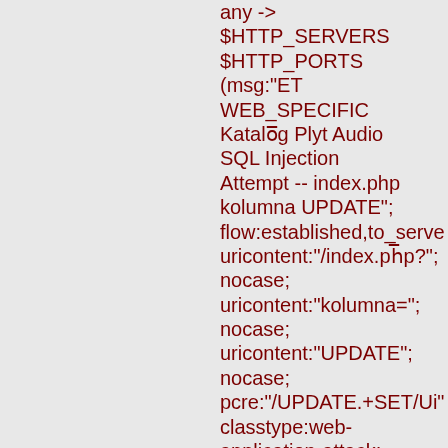any -> $HTTP_SERVERS $HTTP_PORTS (msg:"ET WEB_SPECIFIC Katalog Plyt Audio SQL Injection Attempt -- index.php kolumna UPDATE"; flow:established,to_server; uricontent:"/index.php?"; nocase; uricontent:"kolumna="; nocase; uricontent:"UPDATE"; nocase; pcre:"/UPDATE.+SET/Ui"; classtype:web-application-attack; reference:cve,CVE-2007-1612; reference:url,www.milw0r reference:url,doc.emergin